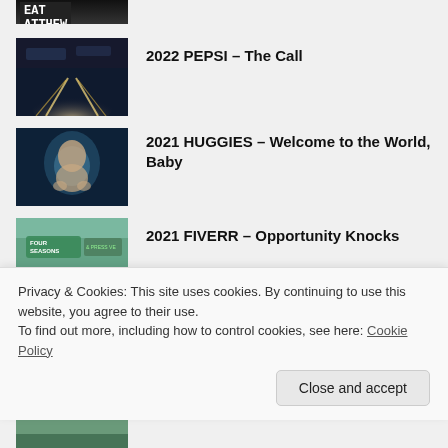[Figure (photo): Partial top thumbnail showing dark background with white bold text 'EAT MATTHEW']
[Figure (photo): Thumbnail of nighttime road scene with car headlights streaming]
2022 PEPSI – The Call
[Figure (photo): Thumbnail of a newborn baby with fists raised against dark background]
2021 HUGGIES – Welcome to the World, Baby
[Figure (photo): Thumbnail showing Four Seasons hotel and press venue sign, outdoor scene]
2021 FIVERR – Opportunity Knocks
Privacy & Cookies: This site uses cookies. By continuing to use this website, you agree to their use.
To find out more, including how to control cookies, see here: Cookie Policy
Close and accept
[Figure (photo): Partial bottom thumbnail showing outdoor green/landscape scene]